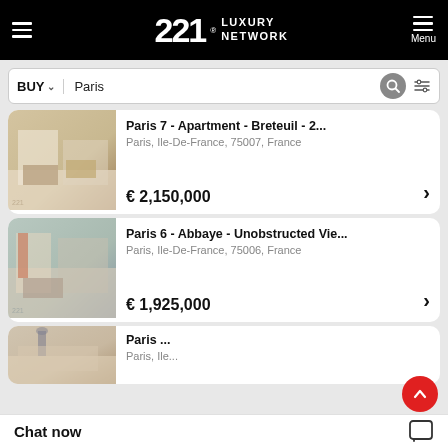221 LUXURY NETWORK
BUY  Paris
Paris 7 - Apartment - Breteuil - 2...
Paris, Ile-De-France, 75007, France
€ 2,150,000
Paris 6 - Abbaye - Unobstructed Vie...
Paris, Ile-De-France, 75006, France
€ 1,925,000
Paris ...
Paris, Ile...
Chat now